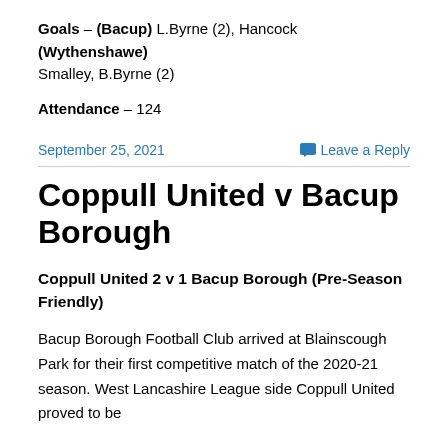Goals – (Bacup) L.Byrne (2), Hancock (Wythenshawe) Smalley, B.Byrne (2)
Attendance – 124
September 25, 2021
Leave a Reply
Coppull United v Bacup Borough
Coppull United 2 v 1 Bacup Borough (Pre-Season Friendly)
Bacup Borough Football Club arrived at Blainscough Park for their first competitive match of the 2020-21 season. West Lancashire League side Coppull United proved to be